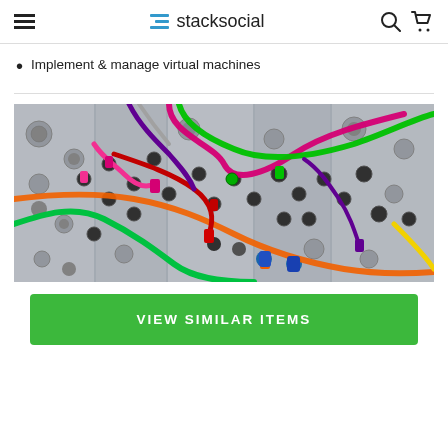stacksocial
Implement & manage virtual machines
[Figure (photo): Close-up photo of colorful patch cables (pink, green, orange, red, yellow, purple) plugged into a modular synthesizer or electronics patch panel]
VIEW SIMILAR ITEMS